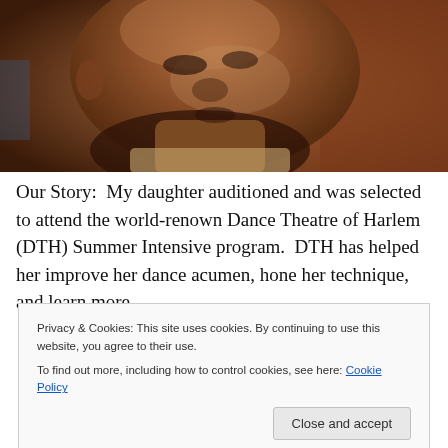[Figure (photo): Close-up photograph of a person's face, appearing to be a Black man, looking upward or to the side, against a warm brown/reddish background]
Our Story:  My daughter auditioned and was selected to attend the world-renown Dance Theatre of Harlem (DTH) Summer Intensive program.  DTH has helped her improve her dance acumen, hone her technique, and learn more
Privacy & Cookies: This site uses cookies. By continuing to use this website, you agree to their use.
To find out more, including how to control cookies, see here: Cookie Policy
Close and accept